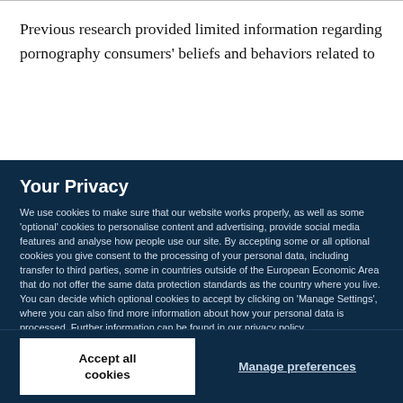Previous research provided limited information regarding pornography consumers' beliefs and behaviors related to
Your Privacy
We use cookies to make sure that our website works properly, as well as some 'optional' cookies to personalise content and advertising, provide social media features and analyse how people use our site. By accepting some or all optional cookies you give consent to the processing of your personal data, including transfer to third parties, some in countries outside of the European Economic Area that do not offer the same data protection standards as the country where you live. You can decide which optional cookies to accept by clicking on 'Manage Settings', where you can also find more information about how your personal data is processed. Further information can be found in our privacy policy.
Accept all cookies
Manage preferences